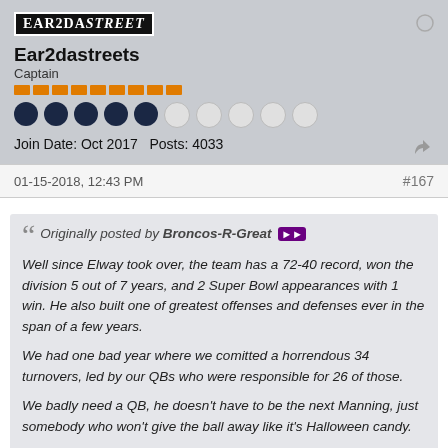[Figure (logo): Ear2dastreets logo - black box with white text reading STREET]
Ear2dastreets
Captain
Join Date: Oct 2017   Posts: 4033
01-15-2018, 12:43 PM
#167
Originally posted by Broncos-R-Great
Well since Elway took over, the team has a 72-40 record, won the division 5 out of 7 years, and 2 Super Bowl appearances with 1 win. He also built one of greatest offenses and defenses ever in the span of a few years.

We had one bad year where we comitted a horrendous 34 turnovers, led by our QBs who were responsible for 26 of those.

We badly need a QB, he doesn't have to be the next Manning, just somebody who won't give the ball away like it's Halloween candy.

If we pickup a QB in FA, then yes, maybe you draft Nelson